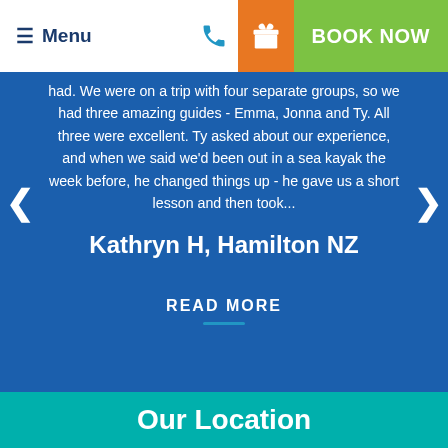≡ Menu | BOOK NOW
had. We were on a trip with four separate groups, so we had three amazing guides - Emma, Jonna and Ty. All three were excellent. Ty asked about our experience, and when we said we'd been out in a sea kayak the week before, he changed things up - he gave us a short lesson and then took...
Kathryn H, Hamilton NZ
READ MORE
Our Location